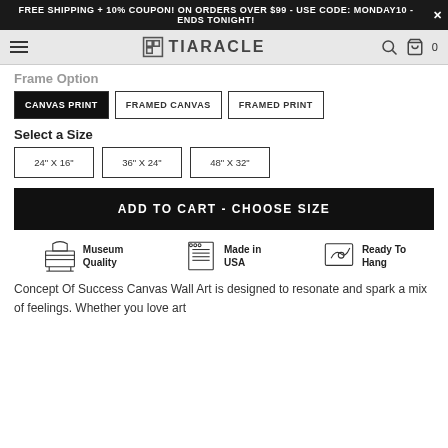FREE SHIPPING + 10% COUPON! ON ORDERS OVER $99 - USE CODE: MONDAY10 - ENDS TONIGHT!
[Figure (logo): Tiaracle logo with icon in navbar]
Frame Option
CANVAS PRINT | FRAMED CANVAS | FRAMED PRINT
Select a Size
24" X 16" | 36" X 24" | 48" X 32"
ADD TO CART - CHOOSE SIZE
Museum Quality | Made in USA | Ready To Hang
Concept Of Success Canvas Wall Art is designed to resonate and spark a mix of feelings. Whether you love art